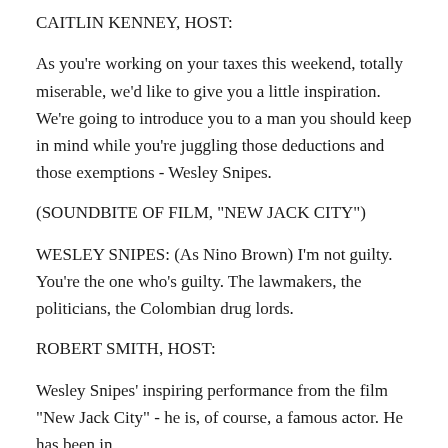CAITLIN KENNEY, HOST:
As you're working on your taxes this weekend, totally miserable, we'd like to give you a little inspiration. We're going to introduce you to a man you should keep in mind while you're juggling those deductions and those exemptions - Wesley Snipes.
(SOUNDBITE OF FILM, "NEW JACK CITY")
WESLEY SNIPES: (As Nino Brown) I'm not guilty. You're the one who's guilty. The lawmakers, the politicians, the Colombian drug lords.
ROBERT SMITH, HOST:
Wesley Snipes' inspiring performance from the film "New Jack City" - he is, of course, a famous actor. He has been in